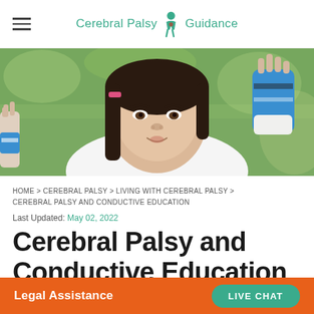Cerebral Palsy Guidance
[Figure (photo): Young Asian girl wearing wrist braces/supports on both hands, raising her hands up, smiling slightly, outdoors with green background]
HOME > CEREBRAL PALSY > LIVING WITH CEREBRAL PALSY > CEREBRAL PALSY AND CONDUCTIVE EDUCATION
Last Updated: May 02, 2022
Cerebral Palsy and Conductive Education
Legal Assistance   LIVE CHAT